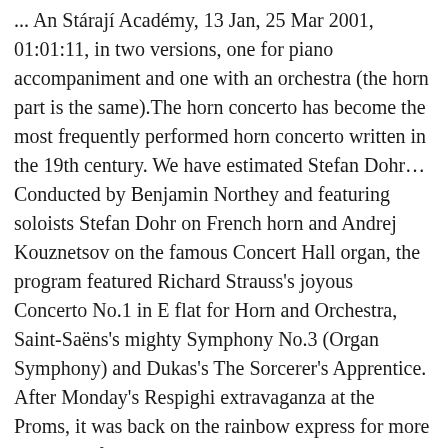... An Stárají Académy, 13 Jan, 25 Mar 2001, 01:01:11, in two versions, one for piano accompaniment and one with an orchestra (the horn part is the same).The horn concerto has become the most frequently performed horn concerto written in the 19th century. We have estimated Stefan Dohr… Conducted by Benjamin Northey and featuring soloists Stefan Dohr on French horn and Andrej Kouznetsov on the famous Concert Hall organ, the program featured Richard Strauss's joyous Concerto No.1 in E flat for Horn and Orchestra, Saint-Saëns's mighty Symphony No.3 (Organ Symphony) and Dukas's The Sorcerer's Apprentice. After Monday's Respighi extravaganza at the Proms, it was back on the rainbow express for more wonders of orchestral colour last night. Its area is 502 ha and it has 690 inhabitants whose main residence is in the municipality and another 52 who have a secondary residence there, for a total of 742 (as at 31 December 2009). Stefan Dohr Net Worth. He is happily living in a marital relationship with his wife Morgan. There's no video, but it is available on Spotify. Word lid van Facebook om met Stefan Dohr en anderen in contact te komen. "Dohr is not only one of the great horn players, he is one of the great horn storytellers." To his Horn house and Stefan Dohr after the...